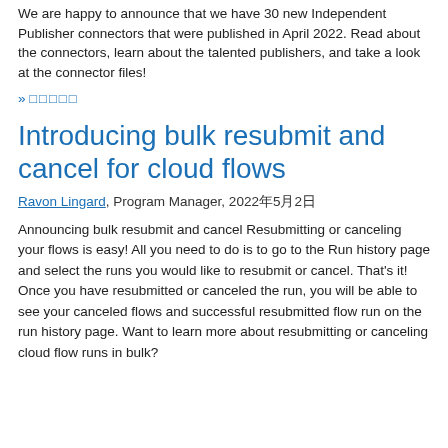We are happy to announce that we have 30 new Independent Publisher connectors that were published in April 2022. Read about the connectors, learn about the talented publishers, and take a look at the connector files!
» □□□□□
Introducing bulk resubmit and cancel for cloud flows
Ravon Lingard, Program Manager, 2022年5月2日
Announcing bulk resubmit and cancel Resubmitting or canceling your flows is easy! All you need to do is to go to the Run history page and select the runs you would like to resubmit or cancel. That's it! Once you have resubmitted or canceled the run, you will be able to see your canceled flows and successful resubmitted flow run on the run history page. Want to learn more about resubmitting or canceling cloud flow runs in bulk?